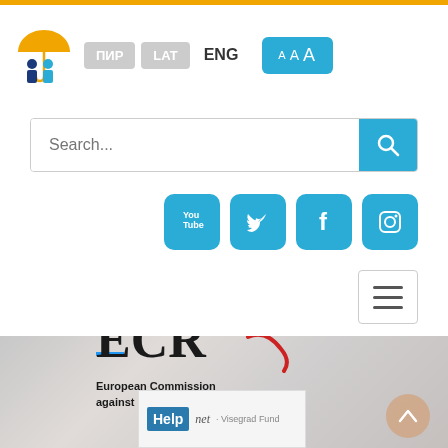[Figure (screenshot): Website header with logo (umbrella with two people), language buttons (ПИР, LAT, ENG), font size selector (AAA), search bar, social media icons (YouTube, Twitter, Facebook, Instagram), hamburger menu, and hero section with ECRI logo and Help.net / Visegrad Fund logos]
ПИР  LAT  ENG  A A A
Search...
[Figure (logo): ECRI - European Commission against Racism and Intolerance logo]
[Figure (logo): Help.net · Visegrad Fund logo]